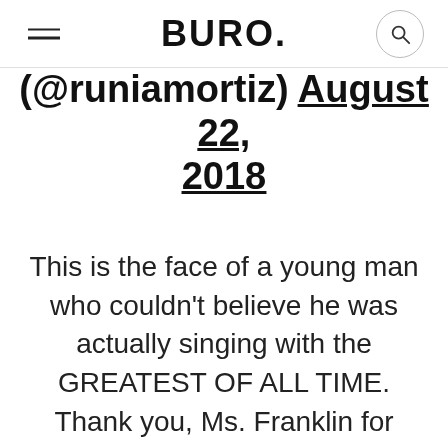BURO.
(@runiamortiz) August 22, 2018
This is the face of a young man who couldn't believe he was actually singing with the GREATEST OF ALL TIME. Thank you, Ms. Franklin for blessing us with your incomparable gift. Honored to have shared the stage with you even for a moment. Always bowing down to you. #QueenofSoul